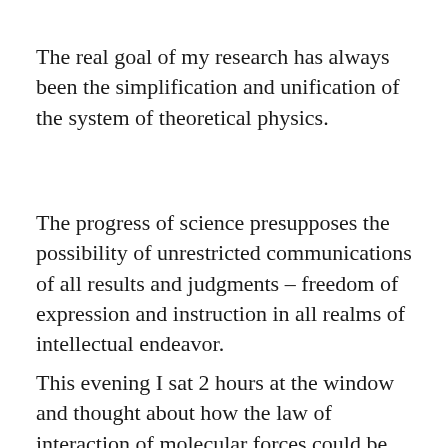The real goal of my research has always been the simplification and unification of the system of theoretical physics.
The progress of science presupposes the possibility of unrestricted communications of all results and judgments – freedom of expression and instruction in all realms of intellectual endeavor.
This evening I sat 2 hours at the window and thought about how the law of interaction of molecular forces could be